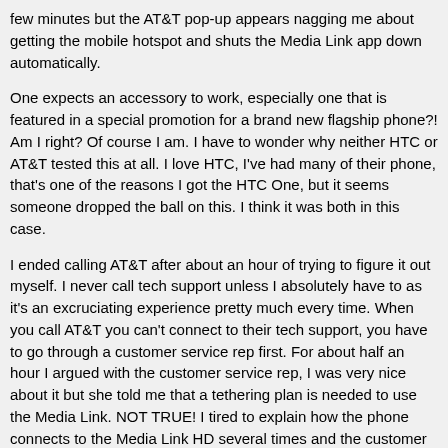few minutes but the AT&T pop-up appears nagging me about getting the mobile hotspot and shuts the Media Link app down automatically.
One expects an accessory to work, especially one that is featured in a special promotion for a brand new flagship phone?! Am I right? Of course I am. I have to wonder why neither HTC or AT&T tested this at all. I love HTC, I've had many of their phone, that's one of the reasons I got the HTC One, but it seems someone dropped the ball on this. I think it was both in this case.
I ended calling AT&T after about an hour of trying to figure it out myself. I never call tech support unless I absolutely have to as it's an excruciating experience pretty much every time. When you call AT&T you can't connect to their tech support, you have to go through a customer service rep first. For about half an hour I argued with the customer service rep, I was very nice about it but she told me that a tethering plan is needed to use the Media Link. NOT TRUE! I tired to explain how the phone connects to the Media Link HD several times and the customer still wouldn't budge. If I wanted to use the